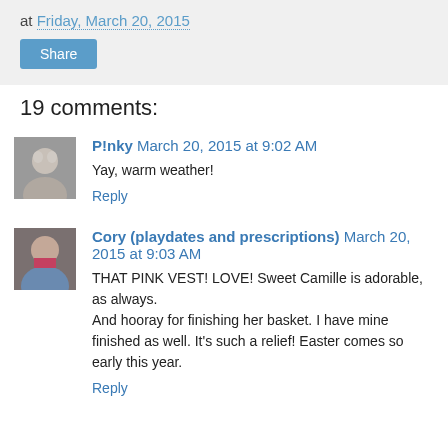at Friday, March 20, 2015
Share
19 comments:
P!nky  March 20, 2015 at 9:02 AM
Yay, warm weather!
Reply
Cory (playdates and prescriptions)  March 20, 2015 at 9:03 AM
THAT PINK VEST! LOVE! Sweet Camille is adorable, as always.
And hooray for finishing her basket. I have mine finished as well. It's such a relief! Easter comes so early this year.
Reply